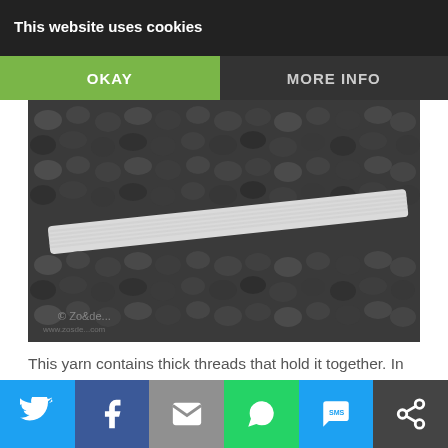This website uses cookies
OKAY
MORE INFO
[Figure (photo): Close-up black and white photo of textured crochet yarn with a white flat thread/strip laid diagonally across it. Watermark visible in lower left corner.]
This yarn contains thick threads that hold it together. In order to make the beard super fluffy, each thread had to be removed.
[Figure (infographic): Social sharing bar with icons for Twitter, Facebook, Email, WhatsApp, SMS, and an additional share option.]